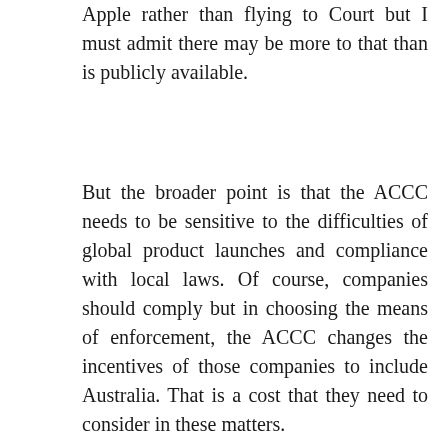Apple rather than flying to Court but I must admit there may be more to that than is publicly available.
But the broader point is that the ACCC needs to be sensitive to the difficulties of global product launches and compliance with local laws. Of course, companies should comply but in choosing the means of enforcement, the ACCC changes the incentives of those companies to include Australia. That is a cost that they need to consider in these matters.
Share this: